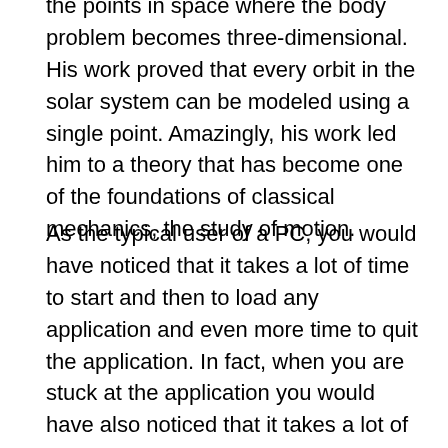the points in space where the body problem becomes three-dimensional. His work proved that every orbit in the solar system can be modeled using a single point. Amazingly, his work led him to a theory that has become one of the foundations of classical mechanics, the study of motion.
As the typical user of a PC, you would have noticed that it takes a lot of time to start and then to load any application and even more time to quit the application. In fact, when you are stuck at the application you would have also noticed that it takes a lot of time to open and close applications. Are you frustrated with the lag in your computer? Are you unhappy with your PC? If yes, then you